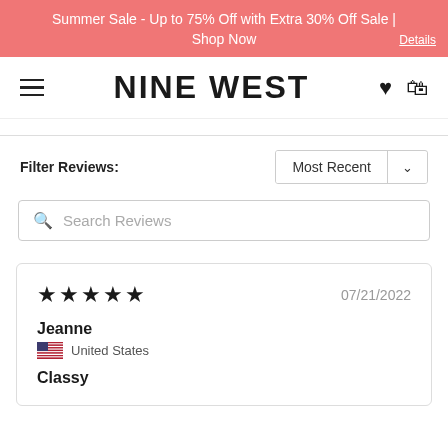Summer Sale - Up to 75% Off with Extra 30% Off Sale | Shop Now
NINE WEST
Filter Reviews:
Search Reviews
★★★★★  07/21/2022
Jeanne
United States
Classy